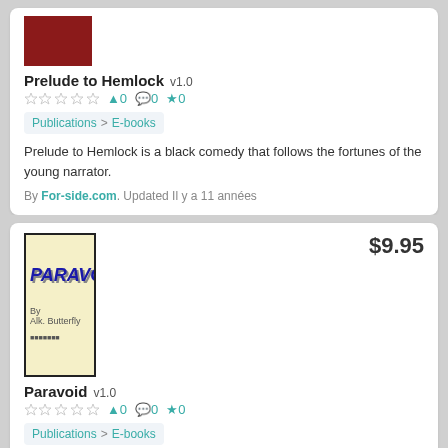[Figure (photo): Book cover for Prelude to Hemlock, dark red/maroon color]
Prelude to Hemlock v1.0
★★★★★ 👤0 💬0 ★0
Publications > E-books
Prelude to Hemlock is a black comedy that follows the fortunes of the young narrator.
By For-side.com. Updated Il y a 11 années
[Figure (photo): Book cover for Paravoid, light yellow with dark blue bold italic title text PARAVOID]
$9.95
Paravoid v1.0
★★★★★ 👤0 💬0 ★0
Publications > E-books
Imagination is man's most fearsome weapon.
By For-side.com. Updated Il y a 11 années